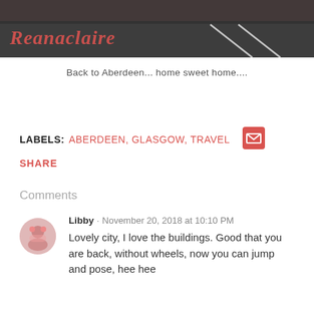[Figure (photo): Dark road/highway photo used as blog header banner with italic red blog title 'Reanaclaire' overlaid]
Back to Aberdeen... home sweet home....
LABELS: ABERDEEN, GLASGOW, TRAVEL
SHARE
Comments
Libby · November 20, 2018 at 10:10 PM
Lovely city, I love the buildings. Good that you are back, without wheels, now you can jump and pose, hee hee